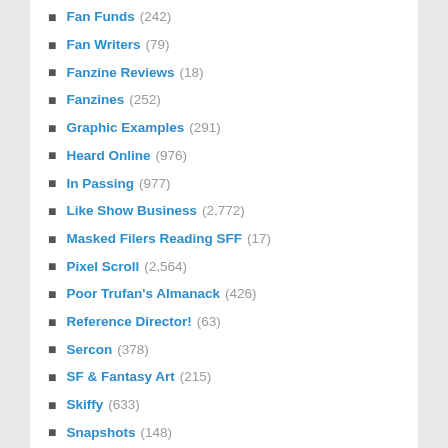Fan Funds (242)
Fan Writers (79)
Fanzine Reviews (18)
Fanzines (252)
Graphic Examples (291)
Heard Online (976)
In Passing (977)
Like Show Business (2,772)
Masked Filers Reading SFF (17)
Pixel Scroll (2,564)
Poor Trufan's Almanack (426)
Reference Director! (63)
Sercon (378)
SF & Fantasy Art (215)
Skiffy (633)
Snapshots (148)
This Week in Words (20)
Uncategorized (2)
Worldcon (1,315)
ARCHIVES